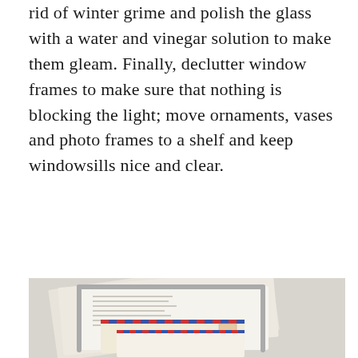rid of winter grime and polish the glass with a water and vinegar solution to make them gleam. Finally, declutter window frames to make sure that nothing is blocking the light; move ornaments, vases and photo frames to a shelf and keep windowsills nice and clear.
[Figure (photo): A wall-mounted metal wire magazine/mail holder containing newspapers, books, envelopes and airmail postcards with red and blue borders, mounted on a light grey wall.]